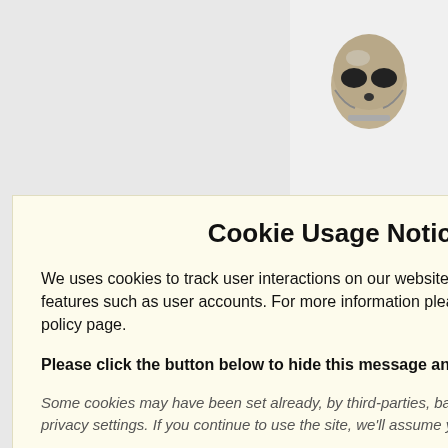[Figure (photo): Partial view of a silver skull ring or sculpture against a light background]
Cookie Usage Notice
We uses cookies to track user interactions on our website and to provide other key features such as user accounts. For more information please visit our site's privacy policy page.
Please click the button below to hide this message and accept our cookies.
Some cookies may have been set already, by third-parties, based on your web browser's privacy settings. If you continue to use the site, we'll assume you're happy to accept cookies.
Accept Cookies ✓